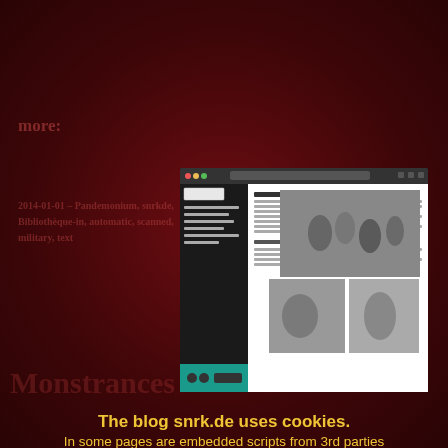[Figure (screenshot): Browser screenshot showing a webpage about 'Monstrances' on snrk.de, with historical engravings/illustrations visible in the interface]
more:
2014-01-01 – Pandemonium, snrkde, Bibliothèque-in, automatic, scanned, Monstrances, text
Monstrances
The blog snrk.de uses cookies.
In some pages are embedded scripts from 3rd parties (e.g. Twitter).
Don't use snrk.de if you don't like that.
Browse snrk.de with any cookies and possible scripts